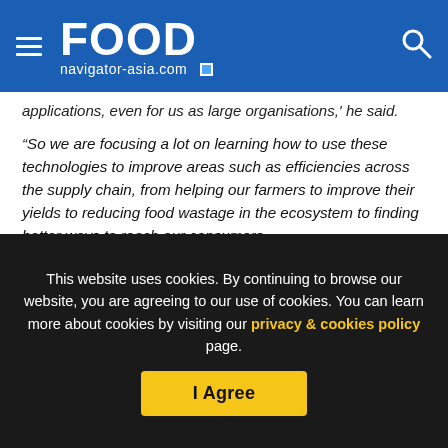FOOD navigator-asia.com
applications, even for us as large organisations,' he said.
“So we are focusing a lot on learning how to use these technologies to improve areas such as efficiencies across the supply chain, from helping our farmers to improve their yields to reducing food wastage in the ecosystem to finding better ways to reach our consumers.
“It is definitely a responsibility for us to provide everyday better ways to reach and serve consumers with nutritious, affordable
This website uses cookies. By continuing to browse our website, you are agreeing to our use of cookies. You can learn more about cookies by visiting our privacy & cookies policy page.
I Agree